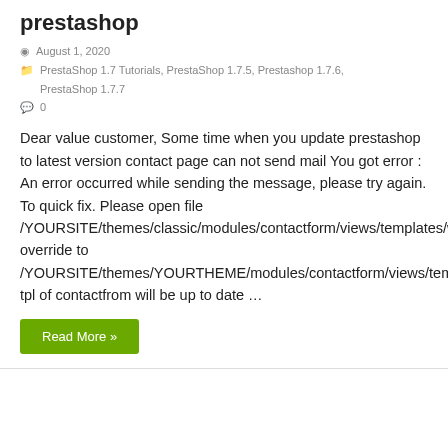prestashop
August 1, 2020
PrestaShop 1.7 Tutorials, PrestaShop 1.7.5, Prestashop 1.7.6, PrestaShop 1.7.7
0
Dear value customer, Some time when you update prestashop to latest version contact page can not send mail You got error : An error occurred while sending the message, please try again. To quick fix. Please open file /YOURSITE/themes/classic/modules/contactform/views/templates/widget/contactform.tpl override to /YOURSITE/themes/YOURTHEME/modules/contactform/views/templates/widget/contactform.tpl tpl of contactfrom will be up to date …
Read More »